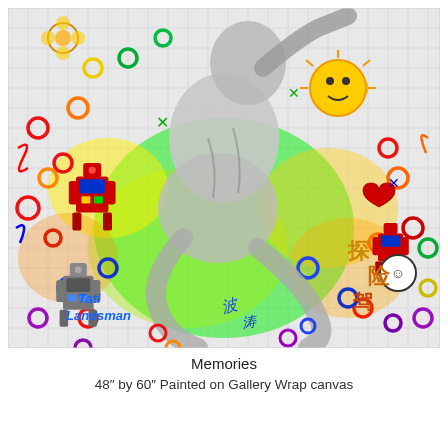[Figure (illustration): A mixed-media artwork titled 'Memories' showing a pencil-drawn figure of a person huddled/curled on a grid-paper background, surrounded by colorful pop-art doodles including robots, Chinese characters, rings/circles in multiple colors, a sun face, anatomical heart, and the artist's signature 'Tati Landsman' in blue in the lower left corner. The artwork is vibrant with greens, reds, yellows, blues and purples overlaid on grayscale figure drawing.]
Memories
48″ by 60″ Painted on Gallery Wrap canvas